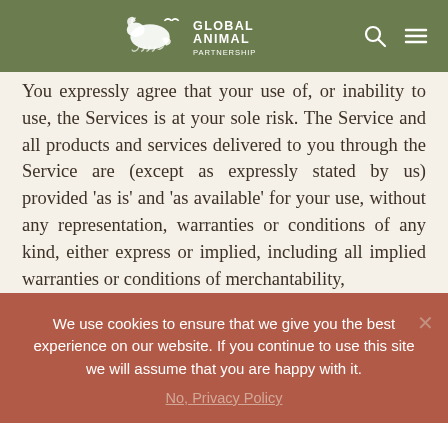Global Animal Partnership
You expressly agree that your use of, or inability to use, the Services is at your sole risk. The Service and all products and services delivered to you through the Service are (except as expressly stated by us) provided ‘as is’ and ‘as available’ for your use, without any representation, warranties or conditions of any kind, either express or implied, including all implied warranties or conditions of merchantability,
We use cookies to ensure that we give you the best experience on our website. If you continue to use this site we will assume that you are happy with it.
No, Privacy Policy